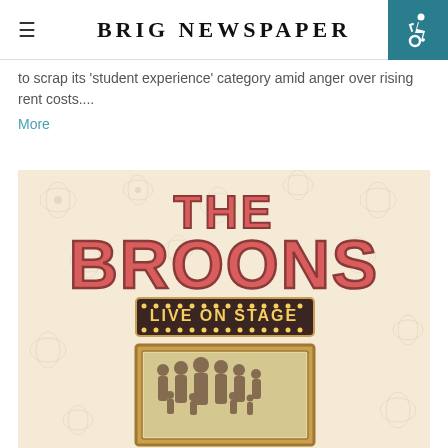BRIG NEWSPAPER
to scrap its 'student experience' category amid anger over rising rent costs....
More
[Figure (photo): The Broons Live On Stage promotional poster. Pink/red retro-style large text 'THE BROONS' at the top, below it a marquee sign reading 'LIVE ON STAGE', and below that a framed illustration showing a group of cartoon family characters. The background is a cream-colored floral wallpaper pattern.]